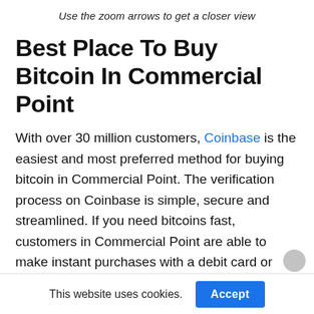Use the zoom arrows to get a closer view
Best Place To Buy Bitcoin In Commercial Point
With over 30 million customers, Coinbase is the easiest and most preferred method for buying bitcoin in Commercial Point. The verification process on Coinbase is simple, secure and streamlined. If you need bitcoins fast, customers in Commercial Point are able to make instant purchases with a debit card or credit card which
This website uses cookies.  Accept